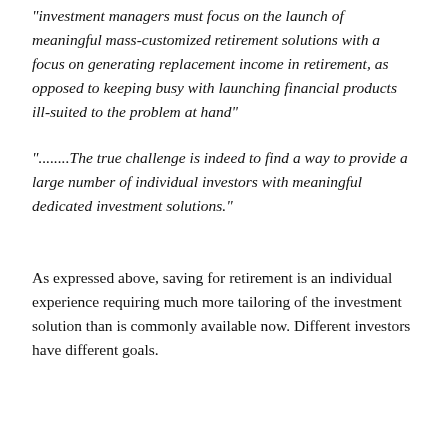"investment managers must focus on the launch of meaningful mass-customized retirement solutions with a focus on generating replacement income in retirement, as opposed to keeping busy with launching financial products ill-suited to the problem at hand"
"........The true challenge is indeed to find a way to provide a large number of individual investors with meaningful dedicated investment solutions."
As expressed above, saving for retirement is an individual experience requiring much more tailoring of the investment solution than is commonly available now. Different investors have different goals.